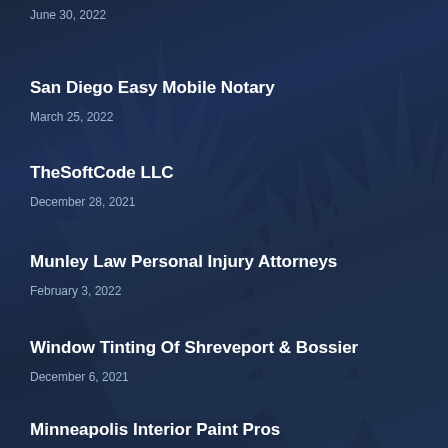June 30, 2022
San Diego Easy Mobile Notary
March 25, 2022
TheSoftCode LLC
December 28, 2021
Munley Law Personal Injury Attorneys
February 3, 2022
Window Tinting Of Shreveport & Bossier
December 6, 2021
Minneapolis Interior Paint Pros